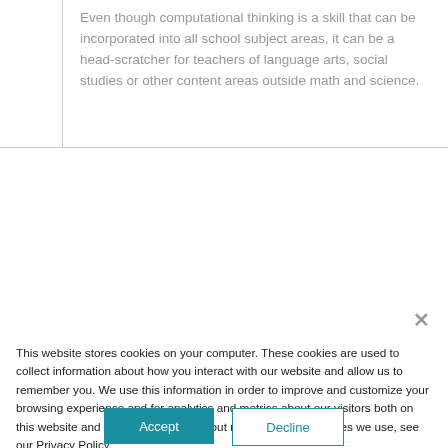Even though computational thinking is a skill that can be incorporated into all school subject areas, it can be a head-scratcher for teachers of language arts, social studies or other content areas outside math and science.
This website stores cookies on your computer. These cookies are used to collect information about how you interact with our website and allow us to remember you. We use this information in order to improve and customize your browsing experience and for analytics and metrics about our visitors both on this website and other media. To find out more about the cookies we use, see our Privacy Policy.
If you decline, your information won't be tracked when you visit this website. A single cookie will be used in your browser to remember your preference not to be tracked.